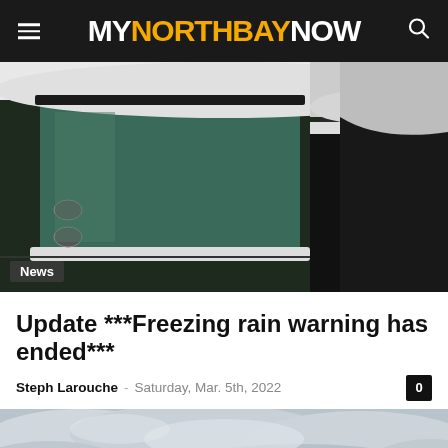MY NORTH BAY NOW
[Figure (photo): Close-up photo of a snow-covered car door and window, black and white tones with teal/green glass visible]
Update ***Freezing rain warning has ended***
Steph Larouche - Saturday, Mar. 5th, 2022
[Figure (photo): Overcast wintry sky, grey and white clouds with slight blue tones, partially visible at bottom of page]